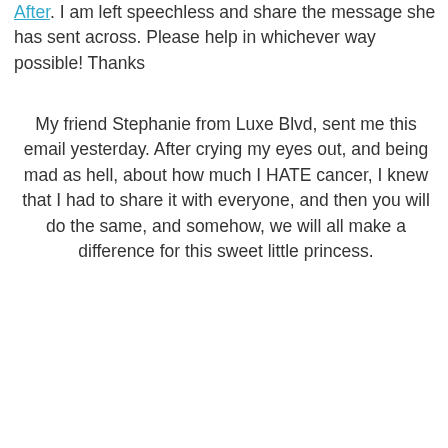After. I am left speechless and share the message she has sent across. Please help in whichever way possible! Thanks
My friend Stephanie from Luxe Blvd, sent me this email yesterday. After crying my eyes out, and being mad as hell, about how much I HATE cancer, I knew that I had to share it with everyone, and then you will do the same, and somehow, we will all make a difference for this sweet little princess.